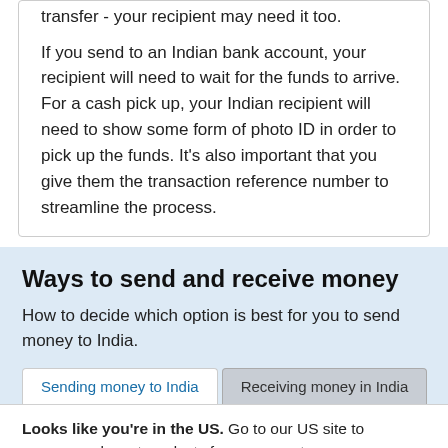transfer - your recipient may need it too.
If you send to an Indian bank account, your recipient will need to wait for the funds to arrive. For a cash pick up, your Indian recipient will need to show some form of photo ID in order to pick up the funds. It's also important that you give them the transaction reference number to streamline the process.
Ways to send and receive money
How to decide which option is best for you to send money to India.
Sending money to India | Receiving money in India
Looks like you're in the US. Go to our US site to compare relevant products for your country.
Go to Finder US
No, stay on this page